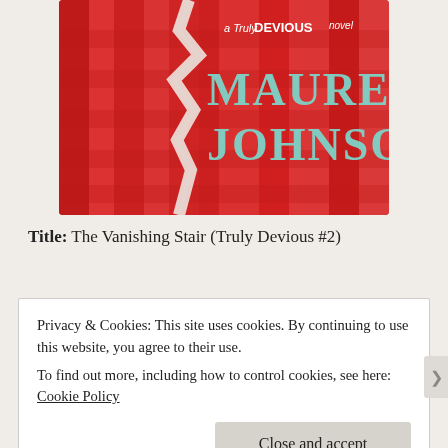[Figure (illustration): Book cover for 'The Vanishing Stair' (Truly Devious #2) by Maureen Johnson. Red geometric staircase background with cracked paper effect. Text reads 'a Truly DEVIOUS novel' in white and 'MAUREEN JOHNSON' in teal/mint colored large letters.]
Title: The Vanishing Stair (Truly Devious #2)
Privacy & Cookies: This site uses cookies. By continuing to use this website, you agree to their use.
To find out more, including how to control cookies, see here: Cookie Policy
Close and accept